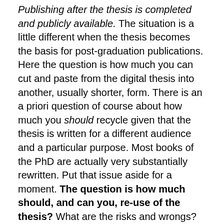Publishing after the thesis is completed and publicly available. The situation is a little different when the thesis becomes the basis for post-graduation publications. Here the question is how much you can cut and paste from the digital thesis into another, usually shorter, form. There is an a priori question of course about how much you should recycle given that the thesis is written for a different audience and a particular purpose. Most books of the PhD are actually very substantially rewritten. Put that issue aside for a moment. The question is how much should, and can you, re-use of the thesis? What are the risks and wrongs?
Theres a lot of rumour about cutting and pasting from your big book. Everyone seems to have heard of the publisher who refuses a book proposal on the grounds that it will be substantially the same as an e-thesis. However, there